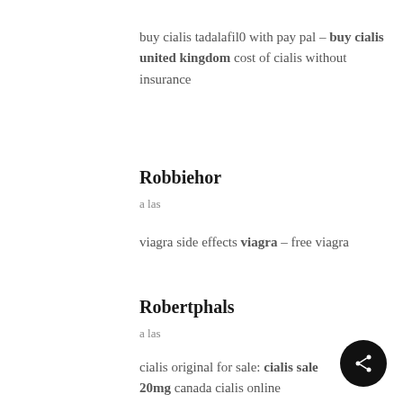buy cialis tadalafil0 with pay pal – buy cialis united kingdom cost of cialis without insurance
Robbiehor
a las
viagra side effects viagra – free viagra
Robertphals
a las
cialis original for sale: cialis sale 20mg canada cialis online